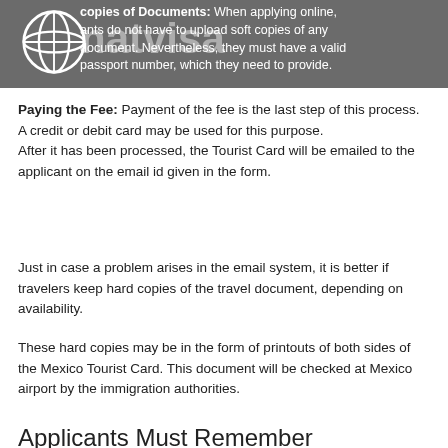Copies of Documents: When applying online, applicants do not have to upload soft copies of any document. Nevertheless, they must have a valid passport number, which they need to provide.
Paying the Fee: Payment of the fee is the last step of this process. A credit or debit card may be used for this purpose.
After it has been processed, the Tourist Card will be emailed to the applicant on the email id given in the form.
Just in case a problem arises in the email system, it is better if travelers keep hard copies of the travel document, depending on availability.
These hard copies may be in the form of printouts of both sides of the Mexico Tourist Card. This document will be checked at Mexico airport by the immigration authorities.
Applicants Must Remember